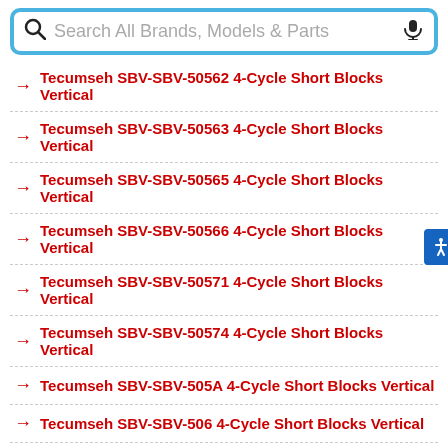[Figure (screenshot): Search bar with magnifying glass icon, placeholder text 'Search All Brands, Models & Parts', and microphone icon, styled with blue border]
Tecumseh SBV-SBV-50562 4-Cycle Short Blocks Vertical
Tecumseh SBV-SBV-50563 4-Cycle Short Blocks Vertical
Tecumseh SBV-SBV-50565 4-Cycle Short Blocks Vertical
Tecumseh SBV-SBV-50566 4-Cycle Short Blocks Vertical
Tecumseh SBV-SBV-50571 4-Cycle Short Blocks Vertical
Tecumseh SBV-SBV-50574 4-Cycle Short Blocks Vertical
Tecumseh SBV-SBV-505A 4-Cycle Short Blocks Vertical
Tecumseh SBV-SBV-506 4-Cycle Short Blocks Vertical
Tecumseh SBV-SBV-506A 4-Cycle Short Blocks Vertical
Tecumseh SBV-SBV-507 4-Cycle Short Blocks Vertical
Tecumseh SBV-SBV-507A 4-Cycle Short Blocks Vertical
Tecumseh SBV-SBV-509 4-Cycle Short Blocks Vertical